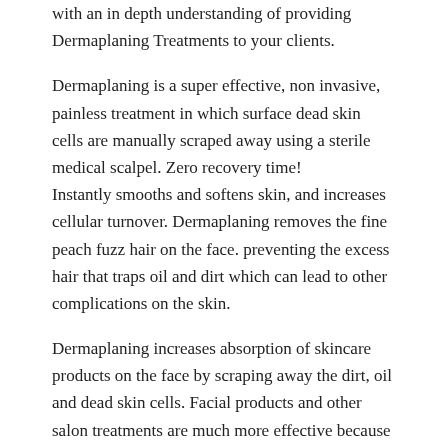with an in depth understanding of providing Dermaplaning Treatments to your clients.
Dermaplaning is a super effective, non invasive, painless treatment in which surface dead skin cells are manually scraped away using a sterile medical scalpel. Zero recovery time! Instantly smooths and softens skin, and increases cellular turnover. Dermaplaning removes the fine peach fuzz hair on the face. preventing the excess hair that traps oil and dirt which can lead to other complications on the skin.
Dermaplaning increases absorption of skincare products on the face by scraping away the dirt, oil and dead skin cells. Facial products and other salon treatments are much more effective because they can penetrate the skin more easily.
Dermaplaning does not pierce the skin or cause any trauma. Think of it this way…..the permanent makeup industry would not be what it is